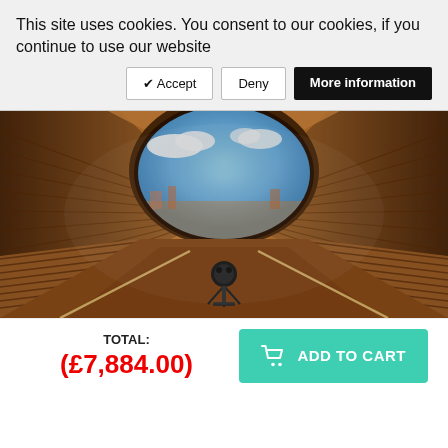This site uses cookies. You consent to our cookies, if you continue to use our website
✔ Accept | Deny | More information
[Figure (photo): Interior of a barrel sauna with wooden plank benches converging toward an arched opening window showing a city skyline and blue sky with clouds. A 360-degree camera on a tripod stand is placed in the center.]
TOTAL: (£7,884.00)
ADD TO CART